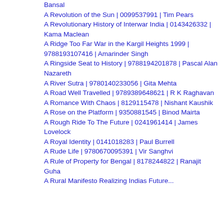Bansal
A Revolution of the Sun | 0099537991 | Tim Pears
A Revolutionary History of Interwar India | 0143426332 | Kama Maclean
A Ridge Too Far War in the Kargil Heights 1999 | 9788193107416 | Amarinder Singh
A Ringside Seat to History | 9788194201878 | Pascal Alan Nazareth
A River Sutra | 9780140233056 | Gita Mehta
A Road Well Travelled | 9789389648621 | R K Raghavan
A Romance With Chaos | 8129115478 | Nishant Kaushik
A Rose on the Platform | 9350881545 | Binod Mairta
A Rough Ride To The Future | 0241961414 | James Lovelock
A Royal Identity | 0141018283 | Paul Burrell
A Rude Life | 9780670095391 | Vir Sanghvi
A Rule of Property for Bengal | 8178244822 | Ranajit Guha
A Rural Manifesto Realizing Indias Future...